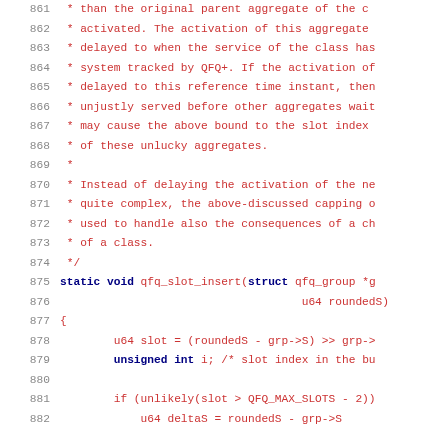Source code listing lines 861-882 of QFQ scheduler implementation in C, showing a comment block and the beginning of the qfq_slot_insert function.